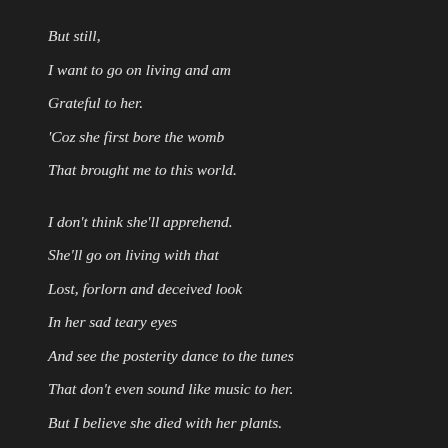But still,
I want to go on living and am
Grateful to her.
'Coz she first bore the womb
That brought me to this world.
I don't think she'll apprehend.
She'll go on living with that
Lost, forlorn and deceived look
In her sad teary eyes
And see the posterity dance to the tunes
That don't even sound like music to her.
But I believe she died with her plants.